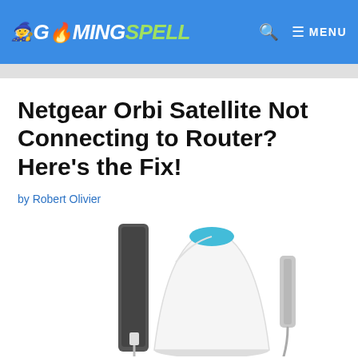GAMINGSPELL  🔍  ≡ MENU
Netgear Orbi Satellite Not Connecting to Router? Here's the Fix!
by Robert Olivier
[Figure (photo): Photo of Netgear Orbi router and satellite devices with power adapter]